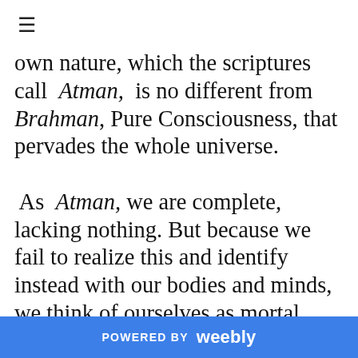≡
own nature, which the scriptures call Atman, is no different from Brahman, Pure Consciousness, that pervades the whole universe.

 As Atman, we are complete, lacking nothing. But because we fail to realize this and identify instead with our bodies and minds, we think of ourselves as mortal, limited individuals and struggle to find happiness in the world outside rather than claim the happiness
POWERED BY weebly